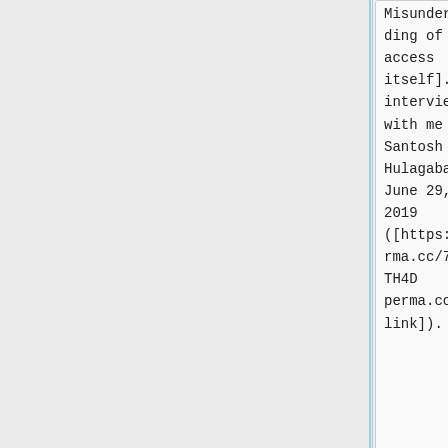ding of open access itself]. An interview with me by Santosh C. Hulagabali, June 29, 2019 ([https://perma.cc/7542-TH4D perma.cc link]).
ding of open access itself]. An interview with me by Santosh C. Hulagabali, June 29, 2019 ([https://perma.cc/7542-TH4D perma.cc link]).
** [http://nrs.harvard.edu/urn-3:HUL.InstRepos:40870884
** [http://nrs.harvard.edu/urn-3:HUL.InstRepos:40870884